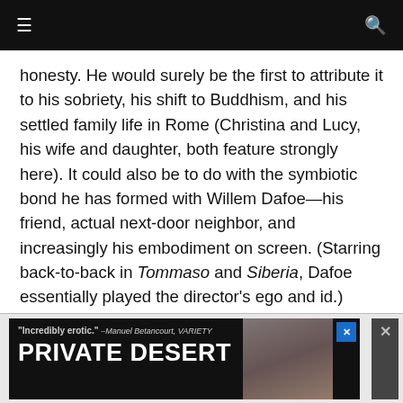☰  🔍
honesty. He would surely be the first to attribute it to his sobriety, his shift to Buddhism, and his settled family life in Rome (Christina and Lucy, his wife and daughter, both feature strongly here). It could also be to do with the symbiotic bond he has formed with Willem Dafoe—his friend, actual next-door neighbor, and increasingly his embodiment on screen. (Starring back-to-back in Tommaso and Siberia, Dafoe essentially played the director's ego and id.)
[Figure (other): Advertisement banner reading: '"Incredibly erotic." —Manuel Betancourt, VARIETY' and 'PRIVATE DESERT' with a photo of a person]